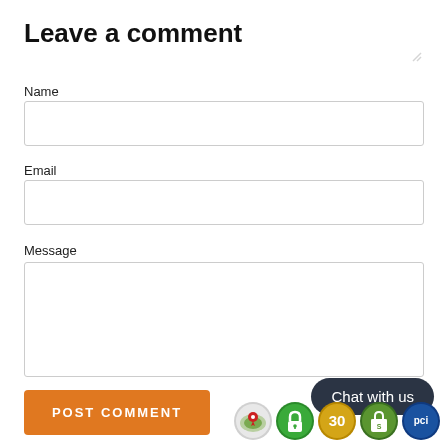Leave a comment
Name
Email
Message
POST COMMENT
Chat with us
[Figure (infographic): Row of five circular badge icons: map pin, green lock, gold 30-day badge, Shopify bag, PCI compliance badge]